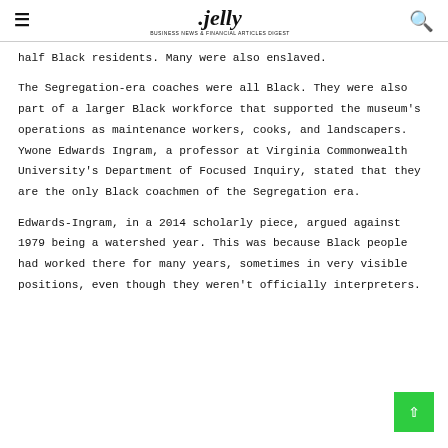jelly
half Black residents. Many were also enslaved.
The Segregation-era coaches were all Black. They were also part of a larger Black workforce that supported the museum's operations as maintenance workers, cooks, and landscapers. Ywone Edwards Ingram, a professor at Virginia Commonwealth University's Department of Focused Inquiry, stated that they are the only Black coachmen of the Segregation era.
Edwards-Ingram, in a 2014 scholarly piece, argued against 1979 being a watershed year. This was because Black people had worked there for many years, sometimes in very visible positions, even though they weren't officially interpreters.